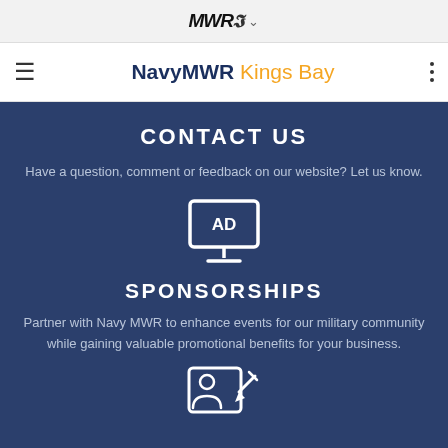MWR (logo) ▾
≡  NavyMWR Kings Bay  ⋮
CONTACT US
Have a question, comment or feedback on our website? Let us know.
[Figure (illustration): Monitor/screen icon with 'AD' text on screen and stand below]
SPONSORSHIPS
Partner with Navy MWR to enhance events for our military community while gaining valuable promotional benefits for your business.
[Figure (illustration): Person ID badge icon with pencil/edit symbol]